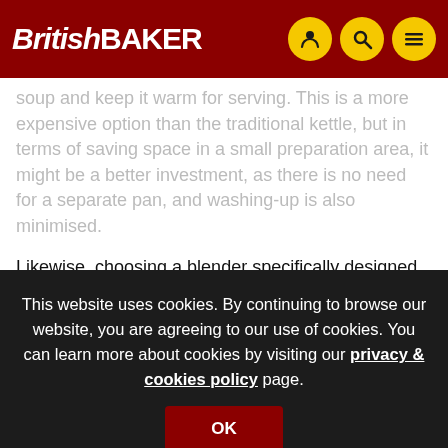British BAKER
soup and keep it warm for serving. This is a more expensive option than the traditional kettle, but in terms of saving space in a small preparation area, it might be a better investment, as there is no need for a separate pan, and washing-up is also minimised.
Likewise, choosing a blender specifically designed for soup is important. Normal stick blenders, with a blade attached to the end of a long handle, although right for the job, they need to be the right size for the container that you are using, because a very long-handled blender in a small pot will not give the correct results, because the blade won't reach the base of the pot – some soup may become blended at the bottom of the blade and some not blended at all.
This website uses cookies. By continuing to browse our website, you are agreeing to our use of cookies. You can learn more about cookies by visiting our privacy & cookies policy page.
OK
bottom of the blade and some not blended at all.